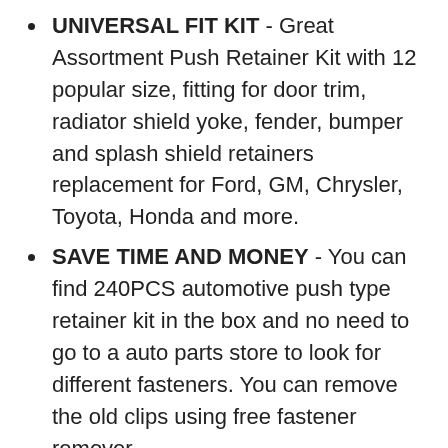UNIVERSAL FIT KIT - Great Assortment Push Retainer Kit with 12 popular size, fitting for door trim, radiator shield yoke, fender, bumper and splash shield retainers replacement for Ford, GM, Chrysler, Toyota, Honda and more.
SAVE TIME AND MONEY - You can find 240PCS automotive push type retainer kit in the box and no need to go to a auto parts store to look for different fasteners. You can remove the old clips using free fastener remover.
HIGH QUALITY - High quality material with heavy-duty construction for durability, this push type retainers set would not break or crack easily during use.
MOST COMMON SIZES - Don not worry about lost or damaged body fasteners. All the